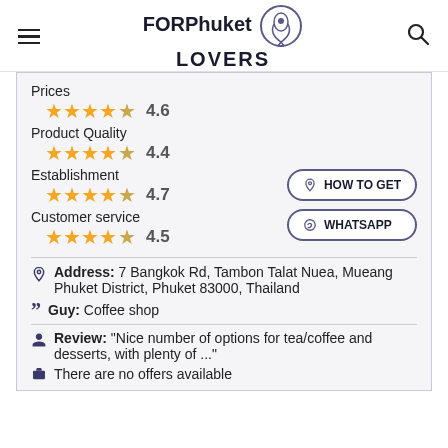FORPhuket LOVERS
Prices 4.6
Product Quality 4.4
Establishment 4.7
Customer service 4.5
HOW TO GET
WHATSAPP
Address: 7 Bangkok Rd, Tambon Talat Nuea, Mueang Phuket District, Phuket 83000, Thailand
Guy: Coffee shop
Review: "Nice number of options for tea/coffee and desserts, with plenty of ..."
There are no offers available